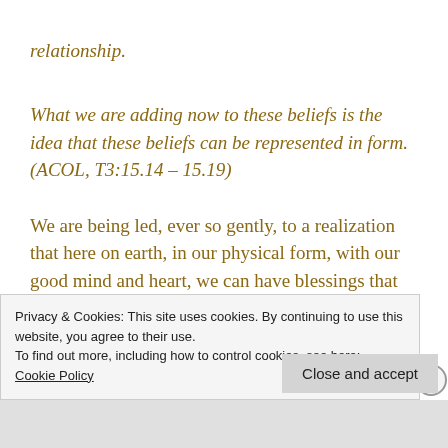relationship.
What we are adding now to these beliefs is the idea that these beliefs can be represented in form. (ACOL, T3:15.14 – 15.19)
We are being led, ever so gently, to a realization that here on earth, in our physical form, with our good mind and heart, we can have blessings that were formerly thought to be ours only after death, on the Other Side. We
Privacy & Cookies: This site uses cookies. By continuing to use this website, you agree to their use.
To find out more, including how to control cookies, see here:
Cookie Policy
Close and accept